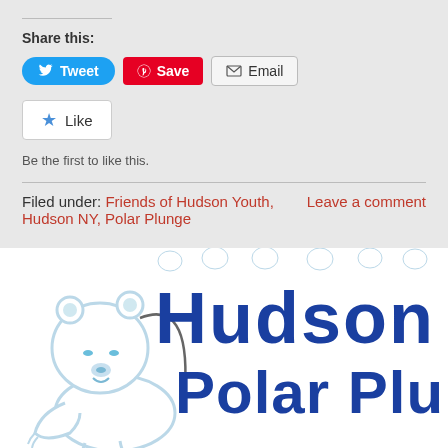Share this:
[Figure (screenshot): Social share buttons: Tweet (blue, Twitter icon), Save (red, Pinterest icon), Email (gray, envelope icon)]
[Figure (screenshot): Like button with star icon]
Be the first to like this.
Filed under: Friends of Hudson Youth, Hudson NY, Polar Plunge    Leave a comment
[Figure (logo): Hudson Polar Plunge logo with polar bear illustration and stylized text]